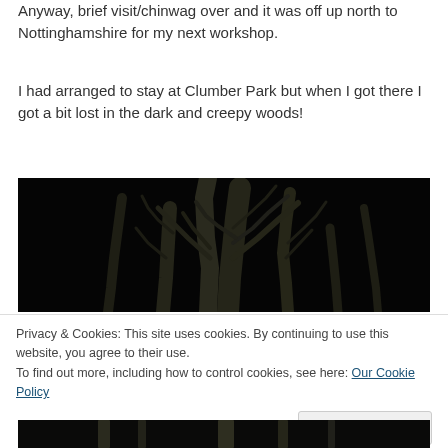Anyway, brief visit/chinwag over and it was off up north to Nottinghamshire for my next workshop.
I had arranged to stay at Clumber Park but when I got there I got a bit lost in the dark and creepy woods!
[Figure (photo): Dark nighttime photo of bare trees with branches silhouetted against a black sky, taken at Clumber Park.]
Privacy & Cookies: This site uses cookies. By continuing to use this website, you agree to their use. To find out more, including how to control cookies, see here: Our Cookie Policy
[Figure (photo): Bottom portion of a nighttime photo, partially visible, showing tree trunks or branches in black and white.]